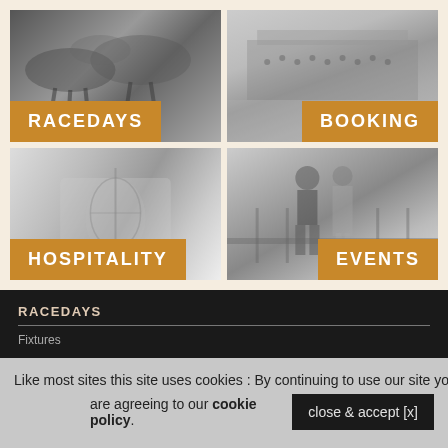[Figure (photo): Grayscale photo of horses jumping at a race, with an orange label overlay reading RACEDAYS]
[Figure (photo): Grayscale photo of a racecourse grandstand filled with spectators, with an orange label overlay reading BOOKING]
[Figure (photo): Grayscale photo of hospitality table setting with decorative items, with an orange label overlay reading HOSPITALITY]
[Figure (photo): Grayscale photo of a couple in formal attire at a racecourse, with an orange label overlay reading EVENTS]
RACEDAYS
Fixtures
Like most sites this site uses cookies : By continuing to use our site you are agreeing to our cookie policy.
close & accept [x]